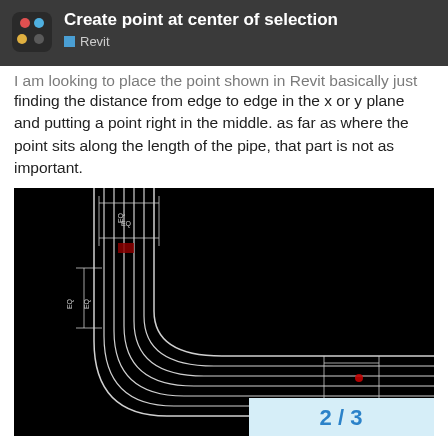Create point at center of selection — Revit
I am looking to place the point shown in Revit basically just finding the distance from edge to edge in the x or y plane and putting a point right in the middle. as far as where the point sits along the length of the pipe, that part is not as important.
[Figure (engineering-diagram): CAD diagram on black background showing multiple parallel pipe lines making a 90-degree bend from vertical to horizontal. EQ dimension markers are visible at top and bottom indicating equal spacing between pipes. A red point marker is visible near the center of the pipe group.]
2 / 3